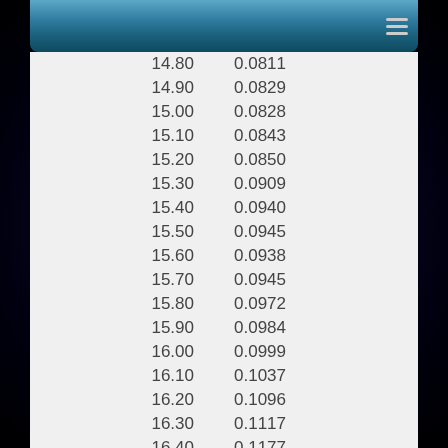| 14.80 | 0.0811 |
| 14.90 | 0.0829 |
| 15.00 | 0.0828 |
| 15.10 | 0.0843 |
| 15.20 | 0.0850 |
| 15.30 | 0.0909 |
| 15.40 | 0.0940 |
| 15.50 | 0.0945 |
| 15.60 | 0.0938 |
| 15.70 | 0.0945 |
| 15.80 | 0.0972 |
| 15.90 | 0.0984 |
| 16.00 | 0.0999 |
| 16.10 | 0.1037 |
| 16.20 | 0.1096 |
| 16.30 | 0.1117 |
| 16.40 | 0.1177 |
| 16.50 | 0.1216 |
| 16.60 | 0.1317 |
| 16.70 | 0.1384 |